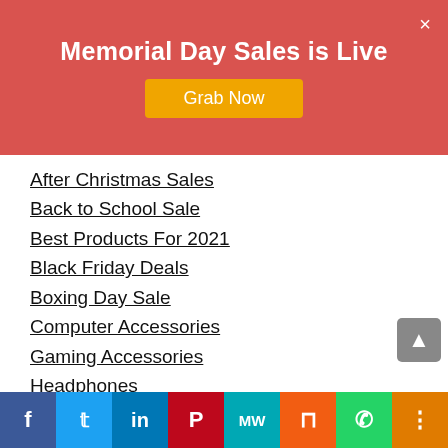Memorial Day Sales is Live
Grab Now
After Christmas Sales
Back to School Sale
Best Products For 2021
Black Friday Deals
Boxing Day Sale
Computer Accessories
Gaming Accessories
Headphones
Health & Beauty
Holiday Hours
Home Appliances
Kitchen
Labor Day Sales
Memorial Day Sales
[Figure (infographic): Social sharing bar at page bottom with icons for Facebook, Twitter, LinkedIn, Pinterest, MixedWrench, Mix, WhatsApp, Share]